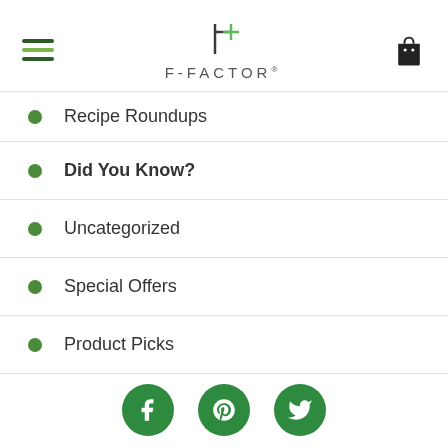F-FACTOR (logo header with hamburger menu and bag icon)
Recipe Roundups
Did You Know?
Uncategorized
Special Offers
Product Picks
Smart Swaps
[Figure (other): Social media icon buttons: Facebook, Pinterest, Twitter on green circular backgrounds]